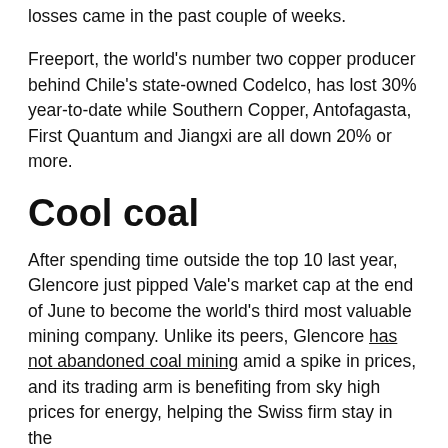losses came in the past couple of weeks.
Freeport, the world's number two copper producer behind Chile's state-owned Codelco, has lost 30% year-to-date while Southern Copper, Antofagasta, First Quantum and Jiangxi are all down 20% or more.
Cool coal
After spending time outside the top 10 last year, Glencore just pipped Vale's market cap at the end of June to become the world's third most valuable mining company. Unlike its peers, Glencore has not abandoned coal mining amid a spike in prices, and its trading arm is benefiting from sky high prices for energy, helping the Swiss firm stay in the